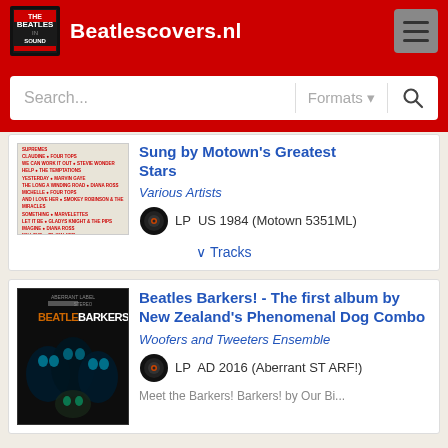Beatlescovers.nl
Search... Formats
[Figure (screenshot): Partial album cover - Motown Greatest Stars, Various Artists, LP US 1984 (Motown 5351ML)]
Sung by Motown's Greatest Stars
Various Artists
LP  US 1984 (Motown 5351ML)
∨ Tracks
[Figure (photo): Album cover - Beatles Barkers! showing dog silhouettes on dark background]
Beatles Barkers! - The first album by New Zealand's Phenomenal Dog Combo
Woofers and Tweeters Ensemble
LP  AD 2016 (Aberrant ST ARF!)